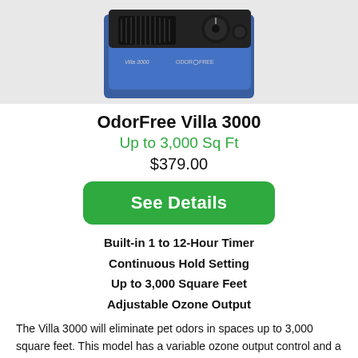[Figure (photo): OdorFree Villa 3000 ozone generator device — blue and black box unit with knob and ventilation grille, partially visible from above]
OdorFree Villa 3000
Up to 3,000 Sq Ft
$379.00
See Details
Built-in 1 to 12-Hour Timer
Continuous Hold Setting
Up to 3,000 Square Feet
Adjustable Ozone Output
The Villa 3000 will eliminate pet odors in spaces up to 3,000 square feet. This model has a variable ozone output control and a 1 to 12-Hour Timer that automatically turns the machine off when the treatment is